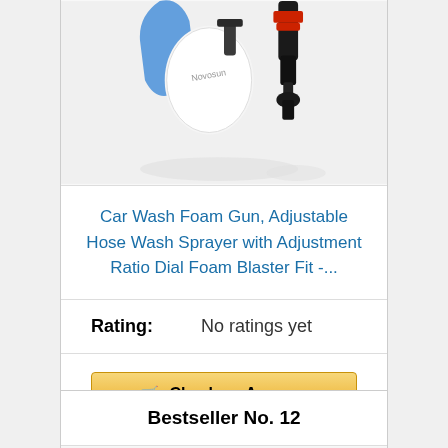[Figure (photo): Product image of car wash foam gun - partial top of product card showing wash sprayer with white cap (Novosun brand) on left and black/red hose attachment on right]
Car Wash Foam Gun, Adjustable Hose Wash Sprayer with Adjustment Ratio Dial Foam Blaster Fit -...
Rating: No ratings yet
Check on Amazon
Bestseller No. 12
[Figure (photo): Product image of car wash foam cannon kit with brass fittings, white bottle, and blue chenille wash mitt/brush]